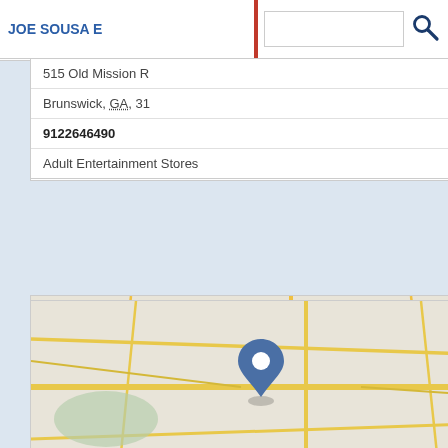JOE SOUSA E...
515 Old Mission R...
Brunswick, GA, 31...
9122646490
Adult Entertainment Stores
[Figure (map): Map thumbnail showing location pin for Joe's Lawn Service in Brunswick GA area with road network]
JOE'S LAWN SERVICE
JOE S Lawn Service
Brunswick, GA, 31520
9122697660
Landscaping
Lawn Care
Lawn Maintenance
Lawn Services
Sod
[Figure (map): Map thumbnail showing location pin for a business in Brunswick GA area with road network]